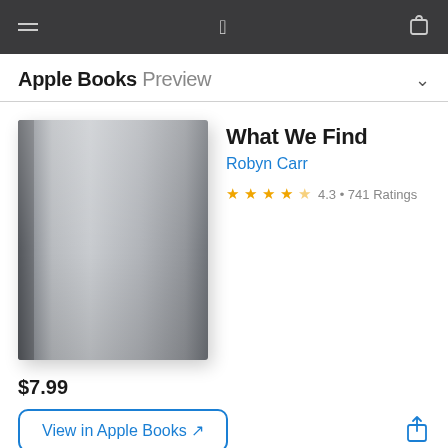Apple Books Preview
[Figure (illustration): Gray book cover with subtle gradient for the book 'What We Find']
What We Find
Robyn Carr
4.3 • 741 Ratings
$7.99
View in Apple Books ↗